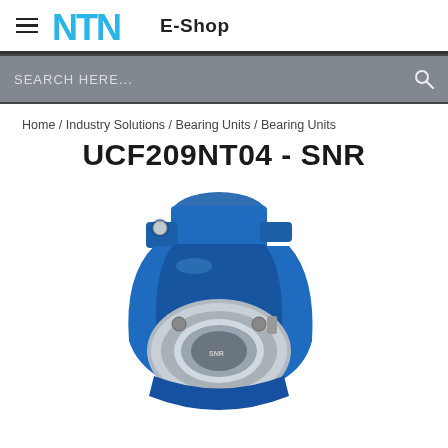NTN E-Shop
SEARCH HERE...
Home / Industry Solutions / Bearing Units / Bearing Units
UCF209NT04 - SNR
[Figure (photo): 3D rendered image of UCF209NT04 SNR flange bearing unit, showing a blue cast iron housing with a silver/chrome ball bearing insert, set screws, and mounting holes]